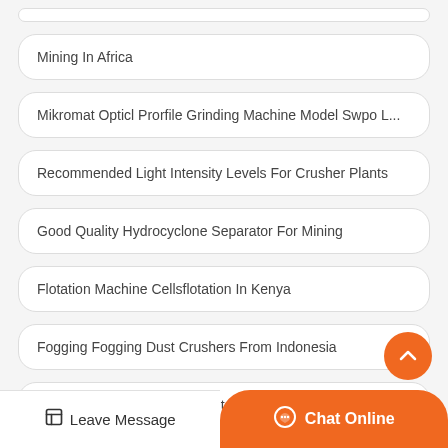Mining In Africa
Mikromat Opticl Prorfile Grinding Machine Model Swpo L...
Recommended Light Intensity Levels For Crusher Plants
Good Quality Hydrocyclone Separator For Mining
Flotation Machine Cellsflotation In Kenya
Fogging Fogging Dust Crushers From Indonesia
Www Stone Crusher India Net F...
Leave Message
Chat Online